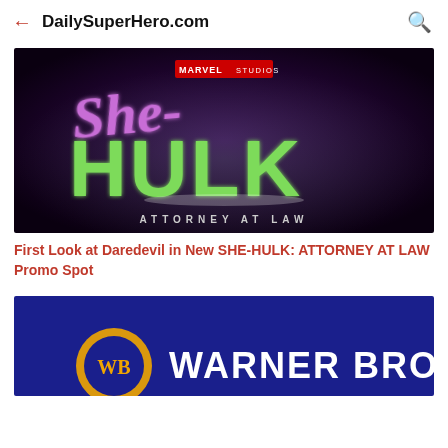DailySuperHero.com
[Figure (screenshot): Marvel Studios She-Hulk: Attorney at Law title card on dark purple/black background with purple script 'She-' and large green 3D letters 'HULK' and subtitle 'ATTORNEY AT LAW']
First Look at Daredevil in New SHE-HULK: ATTORNEY AT LAW Promo Spot
[Figure (screenshot): Warner Bros logo on dark blue background showing partial WB shield and 'WARNER BROS' text in white]